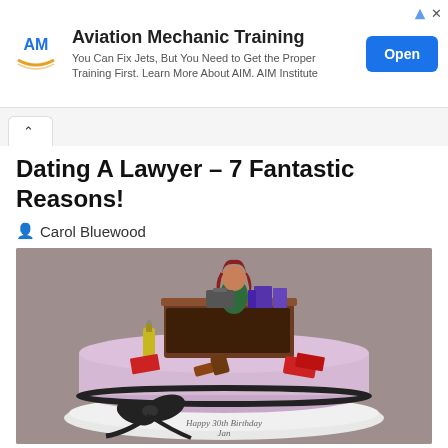[Figure (infographic): Advertisement banner for Aviation Mechanic Training by AIM Institute with logo, text, and Open button]
[Figure (photo): Photo of a lawyer-themed birthday cake with fondant figurine of a woman at a desk, books, champagne bottle, and 'Happy 30th Birthday Jan' written on the base]
Dating A Lawyer – 7 Fantastic Reasons!
Carol Bluewood
While dating a lawyer can be a bit challenging and complicated but it